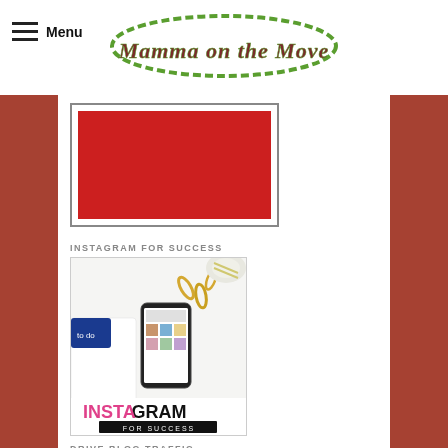Menu | Mamma on the Move
[Figure (photo): Red rectangle image with white border frame]
INSTAGRAM FOR SUCCESS
[Figure (photo): Instagram for Success promotional image showing a phone with Instagram feed, paperclips, a to-do list card, and text reading INSTAGRAM FOR SUCCESS]
DRIVE BLOG TRAFFIC
Blog Clarity Courses